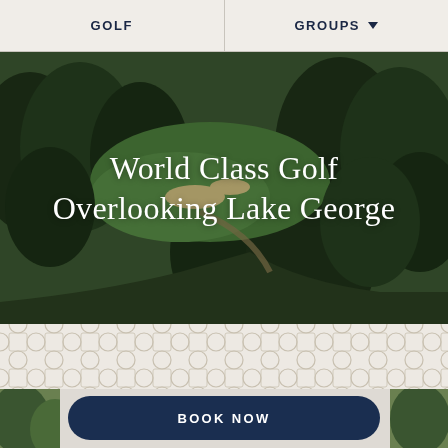GOLF | GROUPS
World Class Golf Overlooking Lake George
[Figure (photo): Aerial view of a golf course with lush green fairways, bunkers, and dense surrounding trees]
[Figure (infographic): Decorative tessellating pattern background in light beige/grey tones]
BOOK NOW